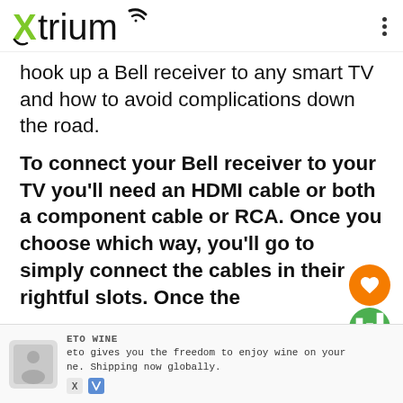Xtrium
hook up a Bell receiver to any smart TV and how to avoid complications down the road.
To connect your Bell receiver to your TV you'll need an HDMI cable or both a component cable or RCA. Once you choose which way, you'll go to simply connect the cables in their rightful slots. Once the
ETO WINE
eto gives you the freedom to enjoy wine on your ne. Shipping now globally.